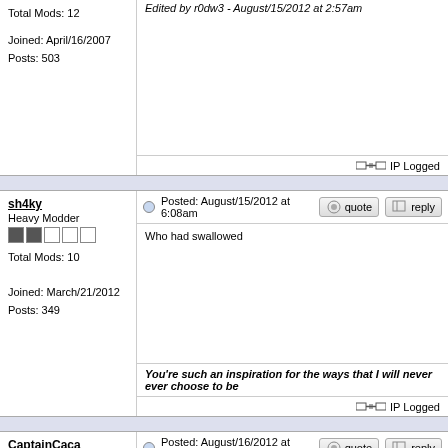Total Mods: 12
Joined: April/16/2007
Posts: 503
Edited by r0dw3 - August/15/2012 at 2:57am
IP Logged
sh4ky
Heavy Modder
Total Mods: 10
Joined: March/21/2012
Posts: 349
Posted: August/15/2012 at 6:08am
Who had swallowed
You're such an inspiration for the ways that I will never ever choose to be
IP Logged
CaptainCaca
Heavy Modder
Posted: August/16/2012 at 4:30pm